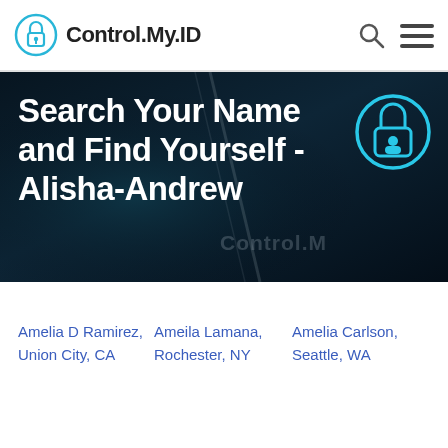Control.My.ID
[Figure (screenshot): Hero banner with dark background showing keyboard image, Control.My.ID logo watermark, and teal lock icon. Large bold white text reads: Search Your Name and Find Yourself - Alisha-Andrew]
Search Your Name and Find Yourself - Alisha-Andrew
Amelia D Ramirez, Union City, CA
Ameila Lamana, Rochester, NY
Amelia Carlson, Seattle, WA